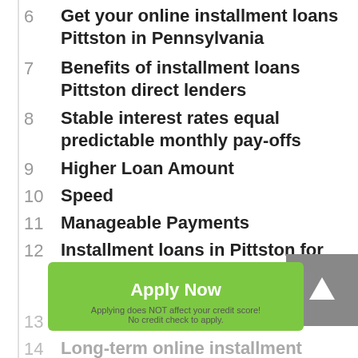6  Get your online installment loans Pittston in Pennsylvania
7  Benefits of installment loans Pittston direct lenders
8  Stable interest rates equal predictable monthly pay-offs
9  Higher Loan Amount
10  Speed
11  Manageable Payments
12  Installment loans in Pittston for bad credit – where's the catch?
13  Unbending Conditions
14  Long-term online installment loans in Pittston of Pennsylvania higher interests
[Figure (other): Scroll-to-top button with upward arrow icon, gray background]
[Figure (other): Apply Now green button overlay with text: Apply Now, Applying does NOT affect your credit score!, No credit check to apply.]